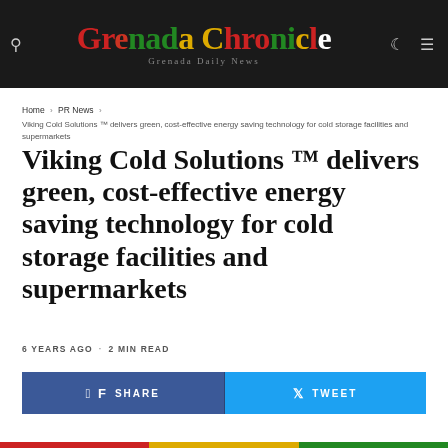Grenada Chronicle — Grenada Daily News
Home › PR News › Viking Cold Solutions ™ delivers green, cost-effective energy saving technology for cold storage facilities and supermarkets
Viking Cold Solutions ™ delivers green, cost-effective energy saving technology for cold storage facilities and supermarkets
6 YEARS AGO · 2 MIN READ
SHARE   TWEET